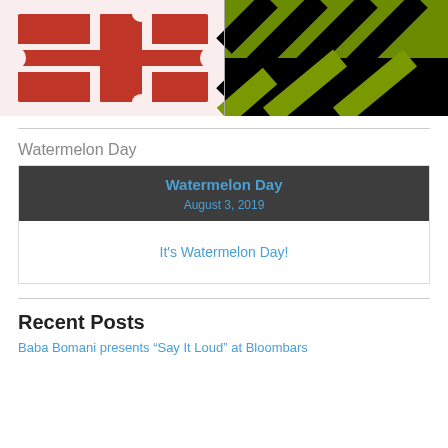[Figure (illustration): Header image split in two halves: left side shows red puzzle pieces forming a cross pattern (resembling a heraldic cross), right side shows Maryland flag pattern with black and green/yellow diagonal checkerboard and stripes.]
Watermelon Day
[Figure (infographic): Dark gray card/widget with centered blue text 'Watermelon Day' and date 'August 3, 2019', followed by white body section with blue link text 'It's Watermelon Day!']
Recent Posts
Baba Bomani presents “Say It Loud” at Bloombars